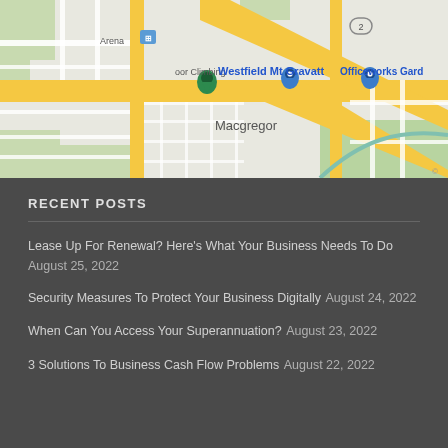[Figure (map): Google Maps screenshot showing Westfield Mt Gravatt, Officeworks Gard, Indoor Climbing area, Arena, and Macgregor suburb with surrounding roads and streets.]
RECENT POSTS
Lease Up For Renewal? Here’s What Your Business Needs To Do August 25, 2022
Security Measures To Protect Your Business Digitally August 24, 2022
When Can You Access Your Superannuation? August 23, 2022
3 Solutions To Business Cash Flow Problems August 22, 2022